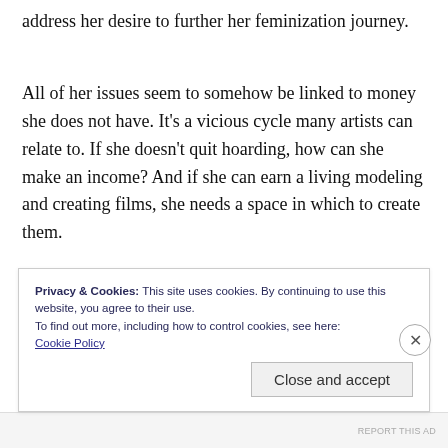address her desire to further her feminization journey.
All of her issues seem to somehow be linked to money she does not have. It’s a vicious cycle many artists can relate to. If she doesn’t quit hoarding, how can she make an income? And if she can earn a living modeling and creating films, she needs a space in which to create them.
Privacy & Cookies: This site uses cookies. By continuing to use this website, you agree to their use.
To find out more, including how to control cookies, see here: Cookie Policy
Close and accept